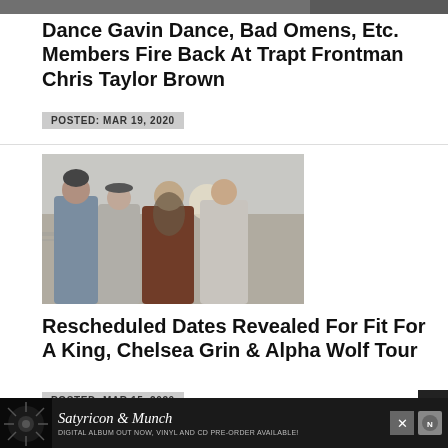[Figure (photo): Partial top image of band/people, cropped]
Dance Gavin Dance, Bad Omens, Etc. Members Fire Back At Trapt Frontman Chris Taylor Brown
POSTED: MAR 19, 2020
[Figure (photo): Band photo showing four members standing together outdoors on a rooftop or terrace]
Rescheduled Dates Revealed For Fit For A King, Chelsea Grin & Alpha Wolf Tour
POSTED: MAR 15, 2020
[Figure (other): Advertisement banner for Satyricon & Munch - Digital Album Out Now, Vinyl and CD Pre-order Available!]